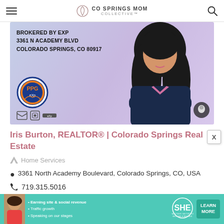CO SPRINGS MOM COLLECTIVE
[Figure (photo): Business card image for Iris Burton REALTOR brokered by EXP at 3361 N Academy Blvd Colorado Springs CO 80917, featuring PPG logo circle and photo of a woman with dark hair in a dark blazer against a purple/blue background]
Iris Burton, REALTOR® | Colorado Springs Real Estate
Home Services
3361 North Academy Boulevard, Colorado Springs, CO, USA
719.315.5016
[Figure (infographic): SHE Partner Network ad banner with bullet points: Earning site & social revenue, Traffic growth, Speaking on our stages, and a LEARN MORE button]